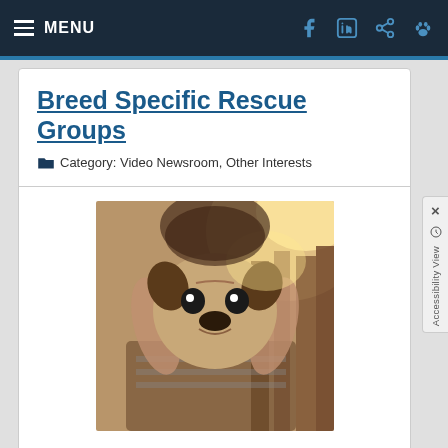MENU
Breed Specific Rescue Groups
Category: Video Newsroom, Other Interests
[Figure (photo): Person holding a small dog up to the camera, outdoors with sunlight in background]
Many dog owners admire the unique looks and personalities of purebreds, but also worry about the fate of millions of pets euthanized each year. What many people don't realize is that there are specific breed rescue organizations for almost every breed of dog, placing dogs in need to new homes. Dogs aren't